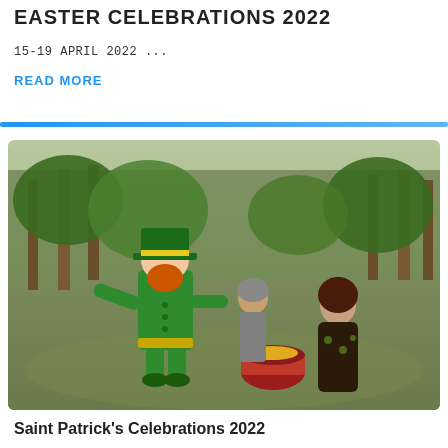EASTER CELEBRATIONS 2022
15-19 APRIL 2022 ...
READ MORE
[Figure (photo): 3D rendered illustration showing a leprechaun character in green suit and hat standing near a red pot with a woman in a dark floral dress and a male figure in the background, set in a grassy forest clearing]
Saint Patrick's Celebrations 2022